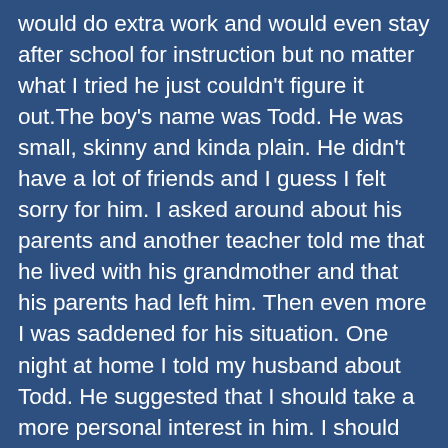would do extra work and would even stay after school for instruction but no matter what I tried he just couldn't figure it out.The boy's name was Todd. He was small, skinny and kinda plain. He didn't have a lot of friends and I guess I felt sorry for him. I asked around about his parents and another teacher told me that he lived with his grandmother and that his parents had left him. Then even more I was saddened for his situation. One night at home I told my husband about Todd. He suggested that I should take a more personal interest in him. I should invite him over and teach him at home. I told my husband that i would do just that.The next day I called Todd's grandmother and asked her if it would be OK if Todd came over for tutoring in math. She agreed it was a good idea. After class ended I told Todd that he could come over and he seemed apprehensive but agreed.The first few weeks went by without incident and I became quite comfortable with Todd. He started coming over every